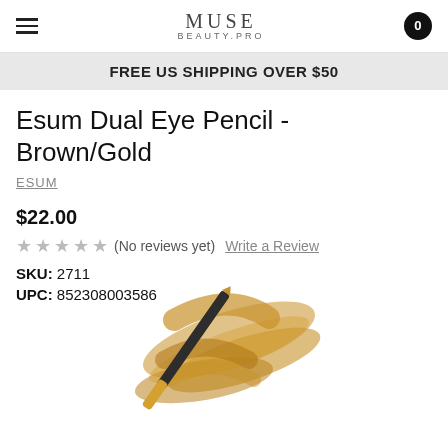MUSE BEAUTY.PRO
FREE US SHIPPING OVER $50
Esum Dual Eye Pencil - Brown/Gold
ESUM
$22.00
(No reviews yet)  Write a Review
SKU: 2711
UPC: 852308003586
[Figure (photo): A dual-ended eye pencil with dark/gold barrel shown diagonally with a gold/brown color swatch smear behind it]